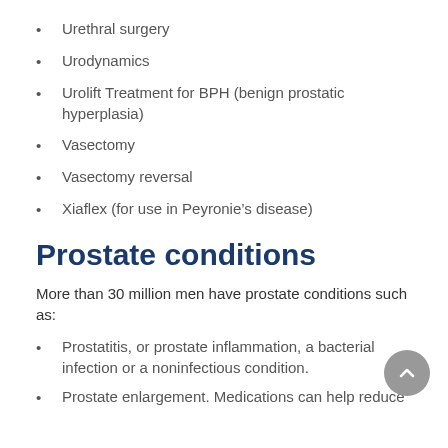Urethral surgery
Urodynamics
Urolift Treatment for BPH (benign prostatic hyperplasia)
Vasectomy
Vasectomy reversal
Xiaflex (for use in Peyronie's disease)
Prostate conditions
More than 30 million men have prostate conditions such as:
Prostatitis, or prostate inflammation, a bacterial infection or a noninfectious condition.
Prostate enlargement. Medications can help reduce